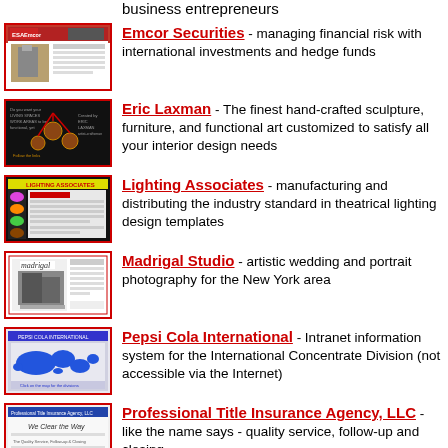business entrepreneurs
Emcor Securities - managing financial risk with international investments and hedge funds
Eric Laxman - The finest hand-crafted sculpture, furniture, and functional art customized to satisfy all your interior design needs
Lighting Associates - manufacturing and distributing the industry standard in theatrical lighting design templates
Madrigal Studio - artistic wedding and portrait photography for the New York area
Pepsi Cola International - Intranet information system for the International Concentrate Division (not accessible via the Internet)
Professional Title Insurance Agency, LLC - like the name says - quality service, follow-up and closing